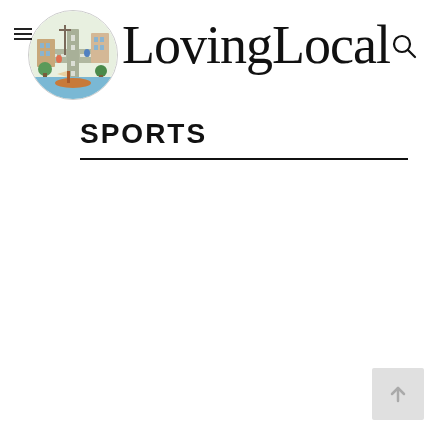LovingLocal
SPORTS
[Figure (other): Back to top button with upward arrow icon]